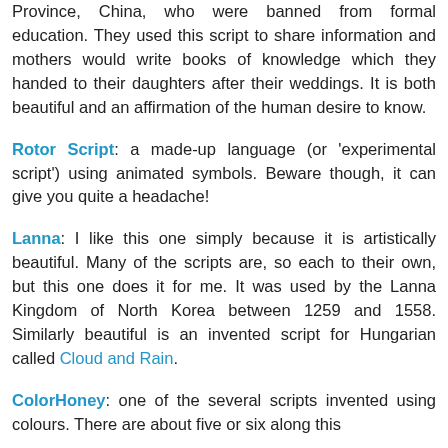Province, China, who were banned from formal education. They used this script to share information and mothers would write books of knowledge which they handed to their daughters after their weddings. It is both beautiful and an affirmation of the human desire to know.
Rotor Script: a made-up language (or 'experimental script') using animated symbols. Beware though, it can give you quite a headache!
Lanna: I like this one simply because it is artistically beautiful. Many of the scripts are, so each to their own, but this one does it for me. It was used by the Lanna Kingdom of North Korea between 1259 and 1558. Similarly beautiful is an invented script for Hungarian called Cloud and Rain.
ColorHoney: one of the several scripts invented using colours. There are about five or six along this